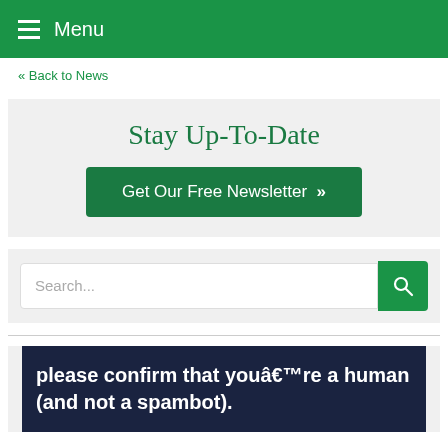Menu
« Back to News
Stay Up-To-Date
Get Our Free Newsletter »
Search...
please confirm that youâ€™re a human (and not a spambot).